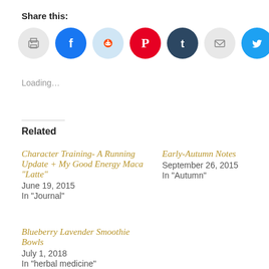Share this:
[Figure (infographic): Row of 7 social sharing icon circles: print (grey), Facebook (blue), Reddit (light blue), Pinterest (red), Tumblr (dark navy), email (grey), Twitter (cyan)]
Loading...
Related
Character Training- A Running Update + My Good Energy Maca "Latte"
June 19, 2015
In "Journal"
Early-Autumn Notes
September 26, 2015
In "Autumn"
Blueberry Lavender Smoothie Bowls
July 1, 2018
In "herbal medicine"